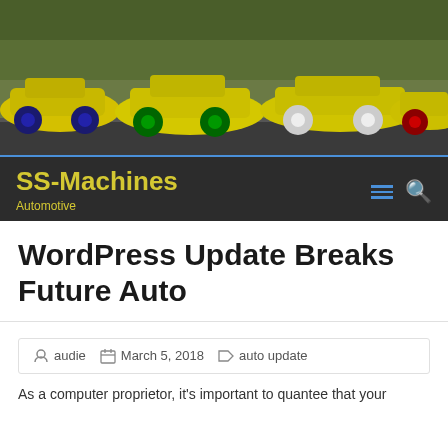[Figure (photo): Row of yellow sport cars parked on a road with trees in background]
SS-Machines
Automotive
WordPress Update Breaks Future Auto
audie   March 5, 2018   auto update
As a computer proprietor, it's important to quantee that your